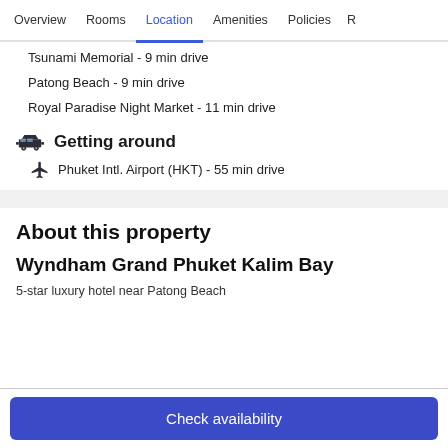Overview  Rooms  Location  Amenities  Policies  R
Tsunami Memorial - 9 min drive
Patong Beach - 9 min drive
Royal Paradise Night Market - 11 min drive
Getting around
Phuket Intl. Airport (HKT) - 55 min drive
About this property
Wyndham Grand Phuket Kalim Bay
5-star luxury hotel near Patong Beach
Check availability